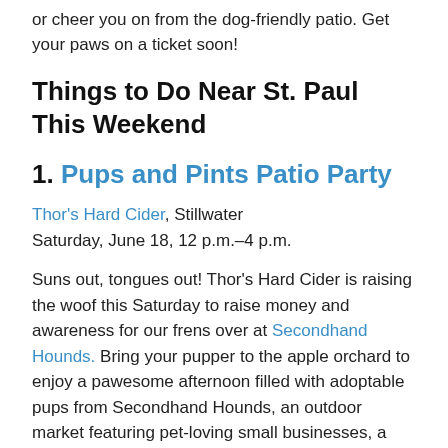or cheer you on from the dog-friendly patio. Get your paws on a ticket soon!
Things to Do Near St. Paul This Weekend
1. Pups and Pints Patio Party
Thor's Hard Cider, Stillwater
Saturday, June 18, 12 p.m.–4 p.m.
Suns out, tongues out! Thor's Hard Cider is raising the woof this Saturday to raise money and awareness for our frens over at Secondhand Hounds. Bring your pupper to the apple orchard to enjoy a pawesome afternoon filled with adoptable pups from Secondhand Hounds, an outdoor market featuring pet-loving small businesses, a DIY selfie spot for the pawfect selfie, and doggie pools to stay cool. They've got hard cider for hoomans and water